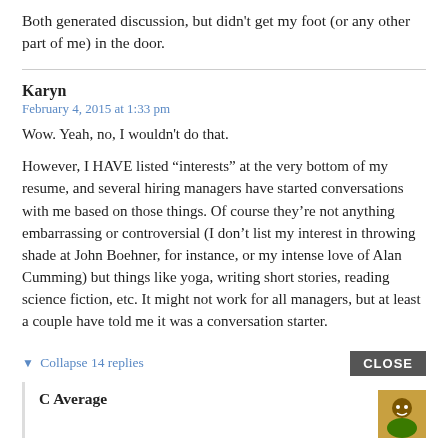Both generated discussion, but didn't get my foot (or any other part of me) in the door.
Karyn
February 4, 2015 at 1:33 pm
Wow. Yeah, no, I wouldn't do that.

However, I HAVE listed “interests” at the very bottom of my resume, and several hiring managers have started conversations with me based on those things. Of course they’re not anything embarrassing or controversial (I don’t list my interest in throwing shade at John Boehner, for instance, or my intense love of Alan Cumming) but things like yoga, writing short stories, reading science fiction, etc. It might not work for all managers, but at least a couple have told me it was a conversation starter.
▼ Collapse 14 replies
CLOSE
C Average